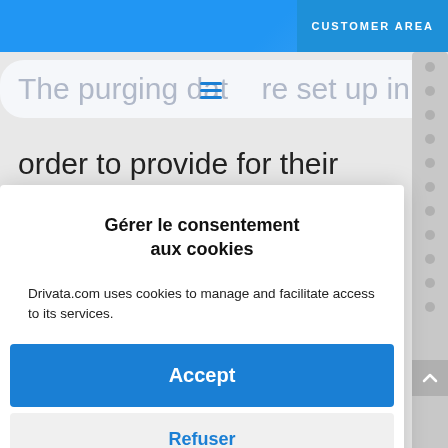CUSTOMER AREA
The purging dates are set up in order to provide for their effective
Gérer le consentement aux cookies
Drivata.com uses cookies to manage and facilitate access to its services.
Accept
Refuser
Preferences